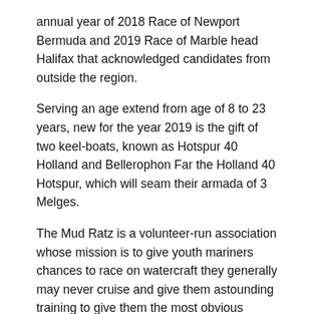annual year of 2018 Race of Newport Bermuda and 2019 Race of Marble head Halifax that acknowledged candidates from outside the region.
Serving an age extend from age of 8 to 23 years, new for the year 2019 is the gift of two keel-boats, known as Hotspur 40 Holland and Bellerophon Far the Holland 40 Hotspur, which will seam their armada of 3 Melges.
The Mud Ratz is a volunteer-run association whose mission is to give youth mariners chances to race on watercraft they generally may never cruise and give them astounding training to give them the most obvious opportunity to learn, improve, and proceed to cherish and take an interest in the game after junior cruising.
With the new keelboat increments to their armada, the Mud Ratz plan to take part in the event of Trysails Clubs Strom Race Block Island this week this up and coming June with the new Farr 40. On how the program has had the capacity to develop so rapidly and effectively, Flack